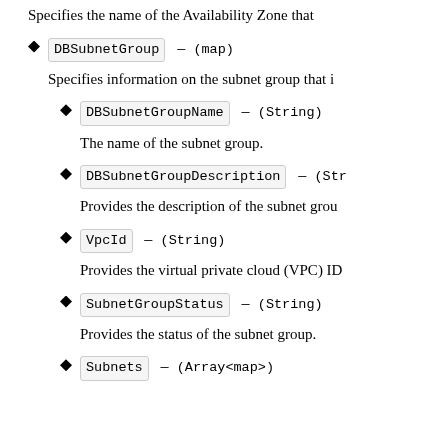Specifies the name of the Availability Zone that
DBSubnetGroup — (map)
Specifies information on the subnet group that i
DBSubnetGroupName — (String)
The name of the subnet group.
DBSubnetGroupDescription — (Str
Provides the description of the subnet grou
VpcId — (String)
Provides the virtual private cloud (VPC) ID
SubnetGroupStatus — (String)
Provides the status of the subnet group.
Subnets — (Array<map>)